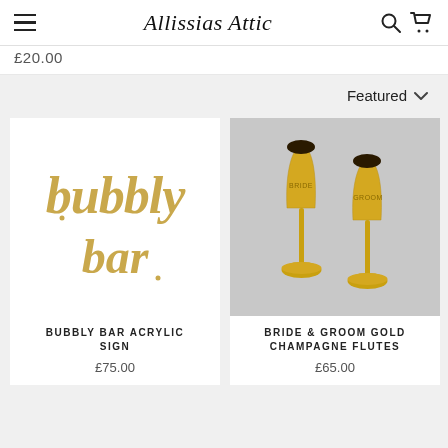Allissias Attic
£20.00
Featured
[Figure (photo): Gold acrylic bubbly bar sign with cursive script lettering on white background]
BUBBLY BAR ACRYLIC SIGN
£75.00
[Figure (photo): Two gold champagne flutes labeled Bride and Groom on grey background]
BRIDE & GROOM GOLD CHAMPAGNE FLUTES
£65.00